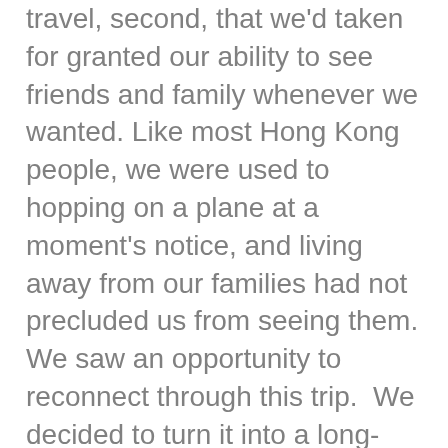travel, second, that we'd taken for granted our ability to see friends and family whenever we wanted. Like most Hong Kong people, we were used to hopping on a plane at a moment's notice, and living away from our families had not precluded us from seeing them. We saw an opportunity to reconnect through this trip.  We decided to turn it into a long-awaited holiday, and invited the rest of our family and some friends to join us.  With the decision made, we felt a surge of joy and anticipation.  We had something to look forward to.
While we fully expected that travel in a post-Covid world would be a